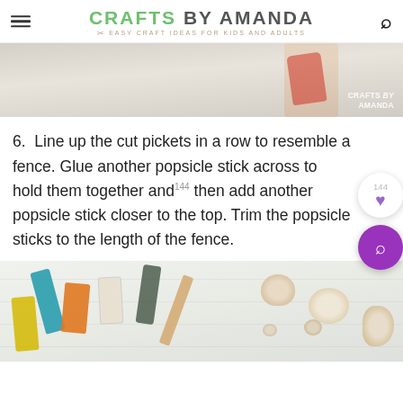CRAFTS BY AMANDA — EASY CRAFT IDEAS FOR KIDS AND ADULTS
[Figure (photo): Close-up photo of a hand holding a red craft tool against a light-colored surface, with a 'Crafts by Amanda' watermark in the bottom right.]
6. Line up the cut pickets in a row to resemble a fence. Glue another popsicle stick across to hold them together and then add another popsicle stick closer to the top. Trim the popsicle sticks to the length of the fence.
[Figure (photo): Overhead photo of craft supplies on a white weathered wood surface, including acrylic paint bottles in teal, orange, and other colors, along with seashells of various sizes.]